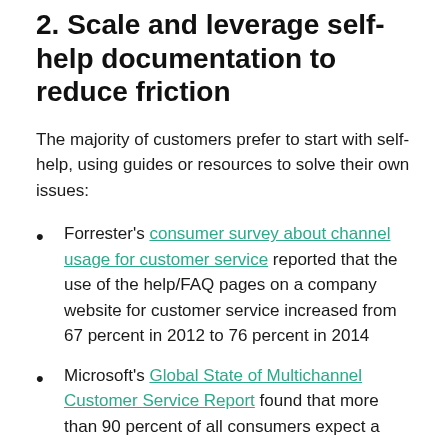2. Scale and leverage self-help documentation to reduce friction
The majority of customers prefer to start with self-help, using guides or resources to solve their own issues:
Forrester's consumer survey about channel usage for customer service reported that the use of the help/FAQ pages on a company website for customer service increased from 67 percent in 2012 to 76 percent in 2014
Microsoft's Global State of Multichannel Customer Service Report found that more than 90 percent of all consumers expect a